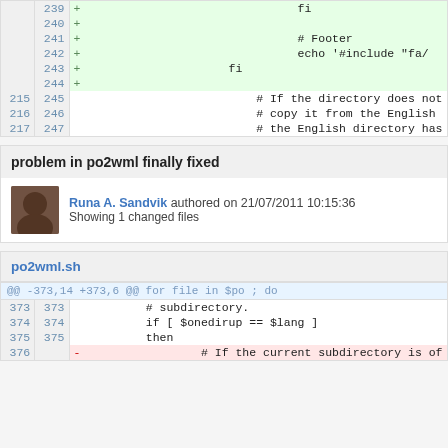[Figure (screenshot): Code diff view showing lines 239-247 with added lines (green) containing shell script code including fi, Footer comment, echo, and context lines with directory comments]
problem in po2wml finally fixed
Runa A. Sandvik authored on 21/07/2011 10:15:36
Showing 1 changed files
po2wml.sh
[Figure (screenshot): Code diff view showing hunk header @@ -373,14 +373,6 @@ for file in $po ; do and lines 373-376 with context and deleted lines]